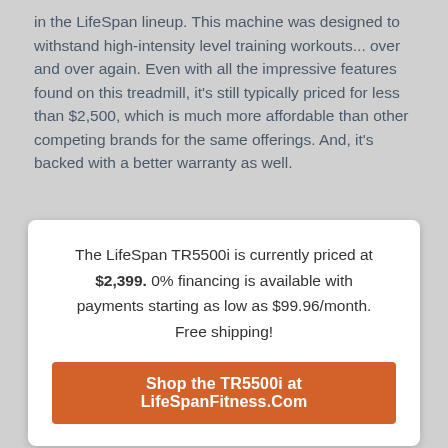in the LifeSpan lineup. This machine was designed to withstand high-intensity level training workouts... over and over again. Even with all the impressive features found on this treadmill, it's still typically priced for less than $2,500, which is much more affordable than other competing brands for the same offerings. And, it's backed with a better warranty as well.
The LifeSpan TR5500i is currently priced at $2,399. 0% financing is available with payments starting as low as $99.96/month. Free shipping!
Shop the TR5500i at LifeSpanFitness.Com